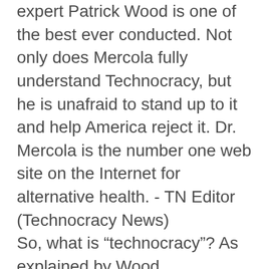expert Patrick Wood is one of the best ever conducted. Not only does Mercola fully understand Technocracy, but he is unafraid to stand up to it and help America reject it. Dr. Mercola is the number one web site on the Internet for alternative health. - TN Editor (Technocracy News)
So, what is “technocracy”? As explained by Wood, technocracy is a movement that got started in the 1930s during the height of the Great Depression, when scientists and engineers got together to solve the nation’s economic problems. It looked like capitalism and free enterprise was going to die, so they decided to invent a new economic system